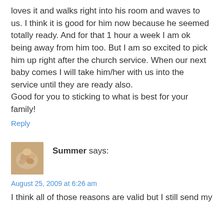loves it and walks right into his room and waves to us. I think it is good for him now because he seemed totally ready. And for that 1 hour a week I am ok being away from him too. But I am so excited to pick him up right after the church service. When our next baby comes I will take him/her with us into the service until they are ready also.
Good for you to sticking to what is best for your family!
Reply
[Figure (photo): Small avatar image showing a baby's hand in warm golden/tan tones]
Summer says:
August 25, 2009 at 6:26 am
I think all of those reasons are valid but I still send my